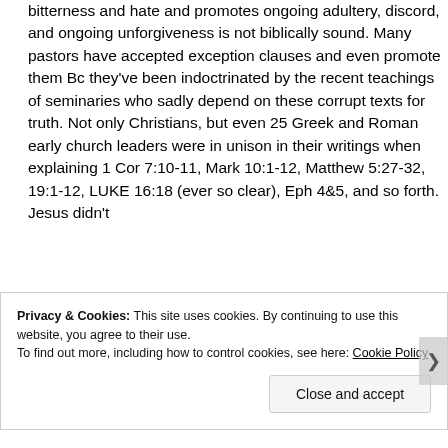bitterness and hate and promotes ongoing adultery, discord, and ongoing unforgiveness is not biblically sound. Many pastors have accepted exception clauses and even promote them Bc they've been indoctrinated by the recent teachings of seminaries who sadly depend on these corrupt texts for truth. Not only Christians, but even 25 Greek and Roman early church leaders were in unison in their writings when explaining 1 Cor 7:10-11, Mark 10:1-12, Matthew 5:27-32, 19:1-12, LUKE 16:18 (ever so clear), Eph 4&5, and so forth. Jesus didn't
Privacy & Cookies: This site uses cookies. By continuing to use this website, you agree to their use. To find out more, including how to control cookies, see here: Cookie Policy
Close and accept